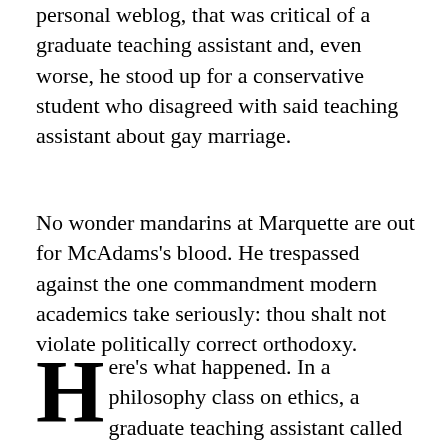personal weblog, that was critical of a graduate teaching assistant and, even worse, he stood up for a conservative student who disagreed with said teaching assistant about gay marriage.
No wonder mandarins at Marquette are out for McAdams's blood. He trespassed against the one commandment modern academics take seriously: thou shalt not violate politically correct orthodoxy.
Here's what happened. In a philosophy class on ethics, a graduate teaching assistant called Cheryl Abbate asked students